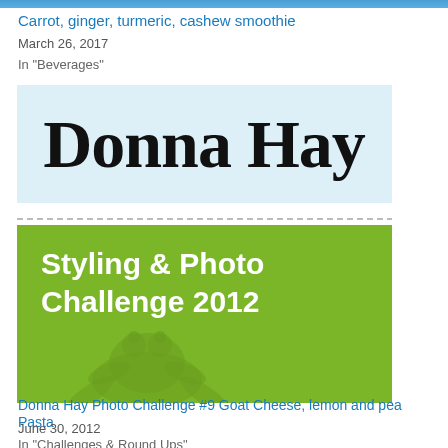[Figure (photo): Top blue banner image strip]
Carrot, ginger, turmeric, cashew smoothie
March 26, 2017
In "Beverages"
[Figure (logo): Donna Hay logo/signature on light blue background]
[Figure (illustration): Green banner with white text reading Styling & Photo Challenge 2012 and a frog silhouette]
Donna Hay Photo Challenge #9 Goat Cheese, lemon and pea Pasta
June 30, 2012
In "Challenges & Round Ups"